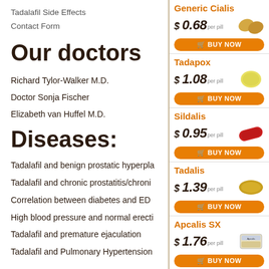Tadalafil Side Effects
Contact Form
Our doctors
Richard Tylor-Walker M.D.
Doctor Sonja Fischer
Elizabeth van Huffel M.D.
Diseases:
Tadalafil and benign prostatic hyperplasia
Tadalafil and chronic prostatitis/chronic
Correlation between diabetes and ED
High blood pressure and normal erection
Tadalafil and premature ejaculation
Tadalafil and Pulmonary Hypertension
[Figure (illustration): Generic Cialis pill - gold/yellow kidney-shaped pills]
Generic Cialis $0.68 per pill BUY NOW
[Figure (illustration): Tadapox pill - yellow round tablet]
Tadapox $1.08 per pill BUY NOW
[Figure (illustration): Sildalis pill - red elongated tablet]
Sildalis $0.95 per pill BUY NOW
[Figure (illustration): Tadalis pill - gold oval tablet]
Tadalis $1.39 per pill BUY NOW
[Figure (illustration): Apcalis SX - blister pack packaging]
Apcalis SX $1.76 per pill BUY NOW